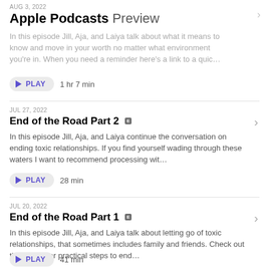AUG 3, 2022
Apple Podcasts Preview
In this episode Jill, Aja, and Laiya talk about what it means to know and move in your worth no matter what environment you're in. When you need a reminder here's a link to a quic…
PLAY  1 hr 7 min
JUL 27, 2022
End of the Road Part 2 E
In this episode Jill, Aja, and Laiya continue the conversation on ending toxic relationships. If you find yourself wading through these waters I want to recommend processing wit…
PLAY  28 min
JUL 20, 2022
End of the Road Part 1 E
In this episode Jill, Aja, and Laiya talk about letting go of toxic relationships, that sometimes includes family and friends. Check out this article for practical steps to end…
PLAY  41 min
Show 10 More Episodes